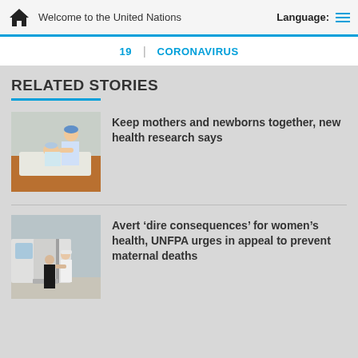Welcome to the United Nations  Language:
19 | CORONAVIRUS
RELATED STORIES
[Figure (photo): A healthcare worker in blue cap attending to a newborn baby with a mother in a medical setting]
Keep mothers and newborns together, new health research says
[Figure (photo): A healthcare worker in white coat assisting a woman in black entering a medical vehicle/ambulance]
Avert ‘dire consequences’ for women’s health, UNFPA urges in appeal to prevent maternal deaths